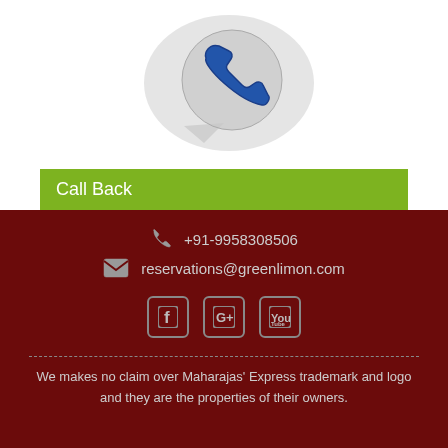[Figure (illustration): A speech bubble with a blue telephone handset and globe icon, representing a call back feature]
Call Back
+91-9958308506
reservations@greenlimon.com
[Figure (other): Social media icons: Facebook, Google+, YouTube]
We makes no claim over Maharajas' Express trademark and logo and they are the properties of their owners.